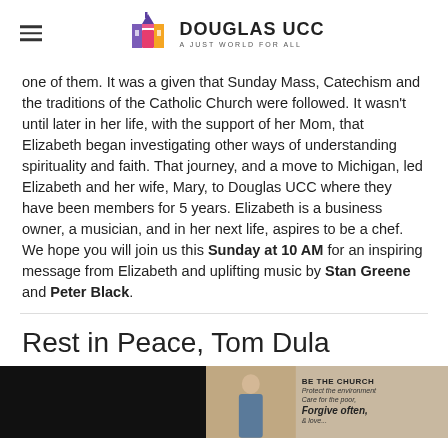DOUGLAS UCC — A JUST WORLD FOR ALL
one of them. It was a given that Sunday Mass, Catechism and the traditions of the Catholic Church were followed. It wasn't until later in her life, with the support of her Mom, that Elizabeth began investigating other ways of understanding spirituality and faith. That journey, and a move to Michigan, led Elizabeth and her wife, Mary, to Douglas UCC where they have been members for 5 years. Elizabeth is a business owner, a musician, and in her next life, aspires to be a chef.  We hope you will join us this Sunday at 10 AM for an inspiring message from Elizabeth and uplifting music by Stan Greene and Peter Black.
Rest in Peace, Tom Dula
[Figure (photo): Photo of a person standing indoors near a sign reading 'BE THE CHURCH / Protect the environment / Care for the poor / Forgive often.']